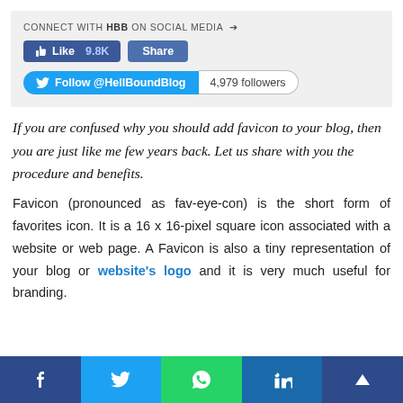[Figure (screenshot): Social media connect box with Facebook Like (9.8K) and Share buttons, and Twitter Follow @HellBoundBlog button with 4,979 followers count]
If you are confused why you should add favicon to your blog, then you are just like me few years back. Let us share with you the procedure and benefits.
Favicon (pronounced as fav-eye-con) is the short form of favorites icon. It is a 16 x 16-pixel square icon associated with a website or web page. A Favicon is also a tiny representation of your blog or website's logo and it is very much useful for branding.
[Figure (infographic): Social share bar at bottom with Facebook, Twitter, WhatsApp, LinkedIn, and scroll-to-top icons]